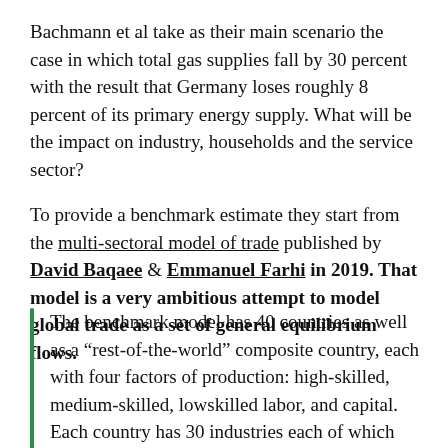Bachmann et al take as their main scenario the case in which total gas supplies fall by 30 percent with the result that Germany loses roughly 8 percent of its primary energy supply. What will be the impact on industry, households and the service sector?
To provide a benchmark estimate they start from the multi-sectoral model of trade published by David Baqaee & Emmanuel Farhi in 2019. That model is a very ambitious attempt to model global trade as a set of general equilibrium flows.
The benchmark model has 40 countries as well as a “rest-of-the-world” composite country, each with four factors of production: high-skilled, medium-skilled, lowskilled labor, and capital. Each country has 30 industries each of which produces a single